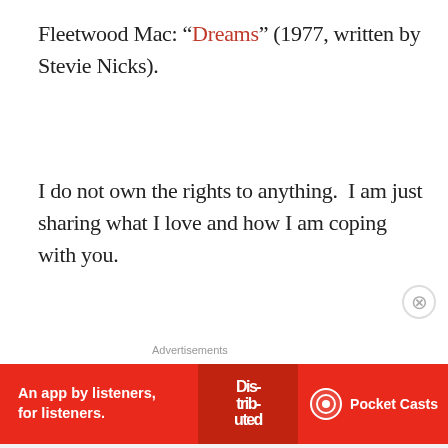Fleetwood Mac: “Dreams” (1977, written by Stevie Nicks).
I do not own the rights to anything. I am just sharing what I love and how I am coping with you.
Stay well.
Advertisements
[Figure (logo): Automattic logo with circular target icon in the letter O]
Build a better web
Advertisements
[Figure (infographic): Pocket Casts red banner ad: An app by listeners, for listeners. Shows phone image with Distributed text overlay and Pocket Casts logo on right.]